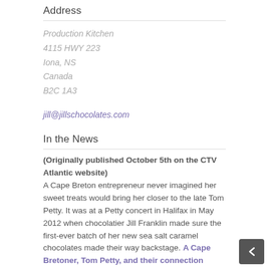Address
Production Kitchen
4115 HWY 223
Iona, NS
Canada
B2C 1A3
jill@jillschocolates.com
In the News
(Originally published October 5th on the CTV Atlantic website)
A Cape Breton entrepreneur never imagined her sweet treats would bring her closer to the late Tom Petty. It was at a Petty concert in Halifax in May 2012 when chocolatier Jill Franklin made sure the first-ever batch of her new sea salt caramel chocolates made their way backstage. A Cape Bretoner, Tom Petty, and their connection through a box of chocolates